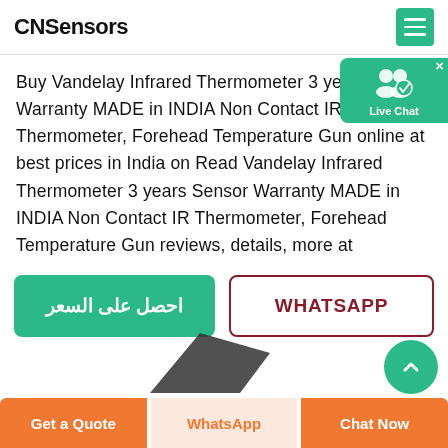CNSensors
[Figure (illustration): Live Chat widget with two user icons and a checkmark badge on a teal/green background, with an X close button.]
Buy Vandelay Infrared Thermometer 3 years Sensor Warranty MADE in INDIA Non Contact IR Thermometer, Forehead Temperature Gun online at best prices in India on Read Vandelay Infrared Thermometer 3 years Sensor Warranty MADE in INDIA Non Contact IR Thermometer, Forehead Temperature Gun reviews, details, more at
احصل على السعر
WHATSAPP
[Figure (photo): Dark triangular product (thermometer gun) silhouette partially visible at bottom center, and a teal circular scroll-up button at bottom right.]
Get a Quote | WhatsApp | Chat Now